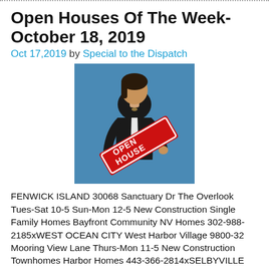Open Houses Of The Week- October 18, 2019
Oct 17,2019 by Special to the Dispatch
[Figure (photo): Woman in business attire holding a red and white Open House sign against a blue background]
FENWICK ISLAND 30068 Sanctuary Dr The Overlook Tues-Sat 10-5 Sun-Mon 12-5 New Construction Single Family Homes Bayfront Community NV Homes 302-988-2185xWEST OCEAN CITY West Harbor Village 9800-32 Mooring View Lane Thurs-Mon 11-5 New Construction Townhomes Harbor Homes 443-366-2814xSELBYVILLE 27610 Shipwreck Dr Lighthouse Lakes Sun & Mon 12-5 Tues-Sat 10-5 New Construction Single Family Homes 10